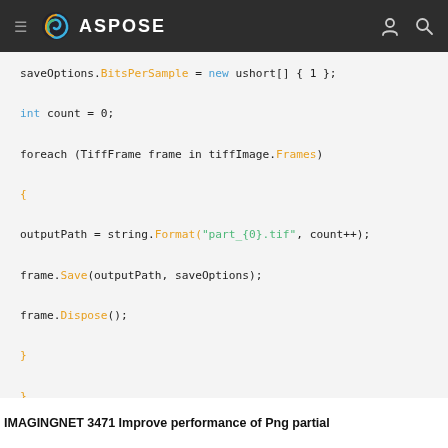ASPOSE
[Figure (screenshot): Code snippet showing C# code for saving TIFF frames with BitsPerSample, foreach loop, outputPath with string.Format, frame.Save, frame.Dispose]
IMAGINGNET 3471 Improve performance of Png partial